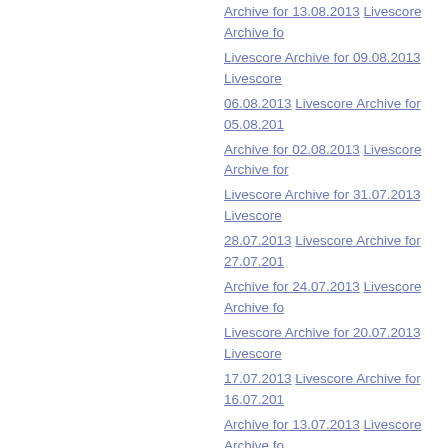Archive for 13.08.2013   Livescore Archive fo
Livescore Archive for 09.08.2013   Livescore
06.08.2013   Livescore Archive for 05.08.201
Archive for 02.08.2013   Livescore Archive for
Livescore Archive for 31.07.2013   Livescore
28.07.2013   Livescore Archive for 27.07.201
Archive for 24.07.2013   Livescore Archive fo
Livescore Archive for 20.07.2013   Livescore
17.07.2013   Livescore Archive for 16.07.201
Archive for 13.07.2013   Livescore Archive fo
Livescore Archive for 09.07.2013   Livescore
06.07.2013   Livescore Archive for 05.07.201
Archive for 02.07.2013   Livescore Archive for
Livescore Archive for 30.06.2013   Livescore
27.06.2013   Livescore Archive for 26.06.201
Archive for 23.06.2013   Livescore Archive fo
Livescore Archive for 19.06.2013   Livescore
16.06.2013   Livescore Archive for 15.06.201
Archive for 12.06.2013   Livescore Archive fo
Livescore Archive for 08.06.2013   Livescore
05.06.2013   Livescore Archive for 04.06.201
Archive for 01.06.2013
Livescore Archive for 31.05.2013   Livescore
28.05.2013   Livescore Archive for 27.05.201
Archive for 24.05.2013